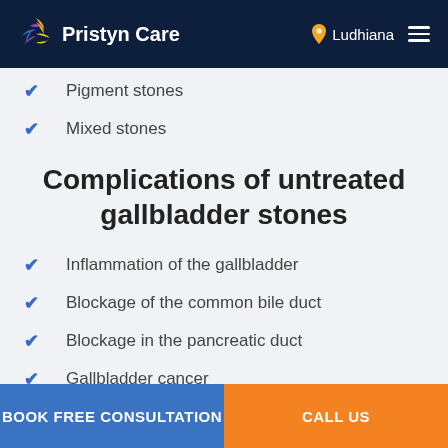Pristyn Care — Ludhiana
Pigment stones
Mixed stones
Complications of untreated gallbladder stones
Inflammation of the gallbladder
Blockage of the common bile duct
Blockage in the pancreatic duct
Gallbladder cancer
BOOK FREE CONSULTATION | CALL US